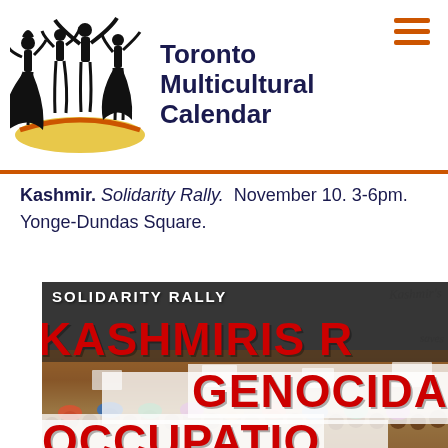[Figure (logo): Toronto Multicultural Calendar logo with silhouettes of dancers in traditional dress and a hamburger menu icon]
Kashmir. Solidarity Rally. November 10. 3-6pm. Yonge-Dundas Square.
[Figure (photo): Protest rally poster showing crowd and large red text reading SOLIDARITY RALLY, KASHMIRIS R[AISE], GENOCIDA[L], OCCUPATIO[N]]